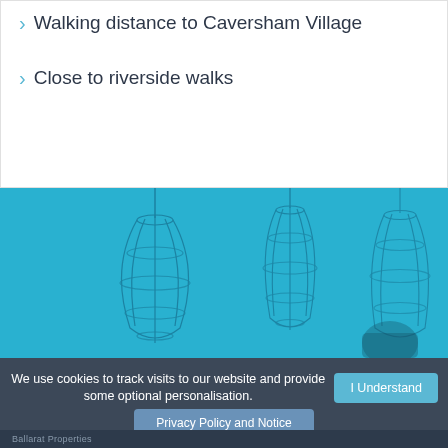Walking distance to Caversham Village
Close to riverside walks
[Figure (photo): Interior photo with teal/cyan overlay showing wire pendant lamp shades and a person smiling, with industrial-style lighting]
We use cookies to track visits to our website and provide some optional personalisation.
I Understand
Privacy Policy and Notice
Ballarat Properties...